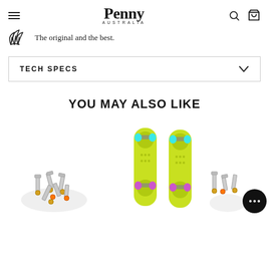Penny Australia — The original and the best.
TECH SPECS
YOU MAY ALSO LIKE
[Figure (photo): Penny Australia skateboard hardware screws and bolts pile]
[Figure (photo): Two yellow/lime green Penny skateboards with teal and pink wheels standing upright]
[Figure (photo): Partial view of skateboard hardware/bolts on right edge]